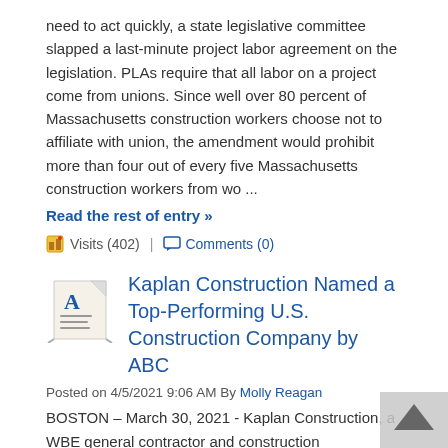need to act quickly, a state legislative committee slapped a last-minute project labor agreement on the legislation. PLAs require that all labor on a project come from unions. Since well over 80 percent of Massachusetts construction workers choose not to affiliate with union, the amendment would prohibit more than four out of every five Massachusetts construction workers from wo ...
Read the rest of entry »
Visits (402) | Comments (0)
Kaplan Construction Named a Top-Performing U.S. Construction Company by ABC
Posted on 4/5/2021 9:06 AM By Molly Reagan
BOSTON – March 30, 2021 - Kaplan Construction, a WBE general contractor and construction management firm providing comprehensive building programs across Greater Boston, announced today it was ranked on Associated Builders and Contractors national 2021 Top Performers list, which recognizes ABC member contractors in safety, quality, diversity, project excellence, and special designations, ranked by work hours. Kaplan also made the Top General Contractors up to $50 million and the Top Performers with Special Designations lists (Kaplan is